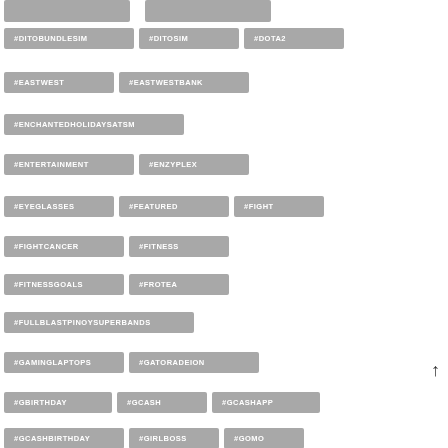[Figure (infographic): A tag cloud / hashtag list showing multiple hashtag buttons arranged in rows: #DITOBUNDLESIM, #DITOSIM, #DOTA2, #EASTWEST, #EASTWESTBANK, #ENCHANTEDHOLIDAYSATSM, #ENTERTAINMENT, #ENZYPLEX, #EYEGLASSES, #FEATURED, #FIGHT, #FIGHTCANCER, #FITNESS, #FITNESSGOALS, #FROTEA, #FULLBLASTPINOYSUPERBANDS, #GAMINGLAPTOPS, #GATORADEION, #GBIRTHDAY, #GCASH, #GCASHAPP, #GCASHBIRTHDAY, #GIRLBOSS, #GOMO. Each hashtag is displayed as a grey rounded rectangle with white text.]